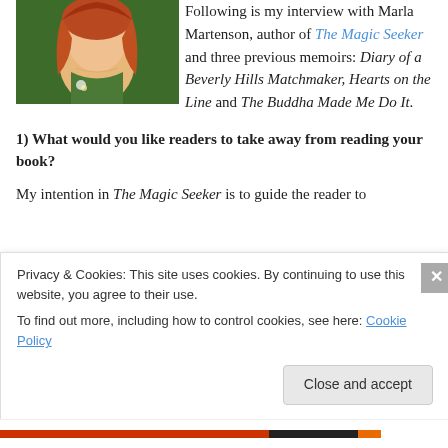[Figure (photo): Photo of Marla Martenson, a woman with red/auburn hair wearing a green cardigan, cropped to show face and upper torso]
Following is my interview with Marla Martenson, author of The Magic Seeker and three previous memoirs: Diary of a Beverly Hills Matchmaker, Hearts on the Line and The Buddha Made Me Do It.
1) What would you like readers to take away from reading your book?
My intention in The Magic Seeker is to guide the reader to
Privacy & Cookies: This site uses cookies. By continuing to use this website, you agree to their use.
To find out more, including how to control cookies, see here: Cookie Policy
Close and accept